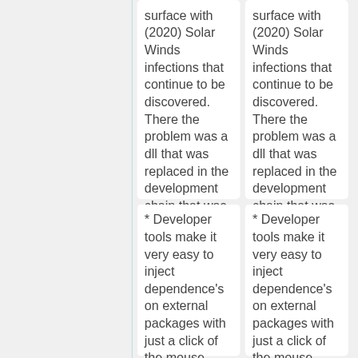surface with (2020) Solar Winds infections that continue to be discovered. There the problem was a dll that was replaced in the development chain that was never validated.
surface with (2020) Solar Winds infections that continue to be discovered. There the problem was a dll that was replaced in the development chain that was never validated.
* Developer tools make it very easy to inject dependence's on external packages with just a click of the mouse. [https://medium.com/@alex.birsan
* Developer tools make it very easy to inject dependence's on external packages with just a click of the mouse. [https://medium.com/@alex.birsan